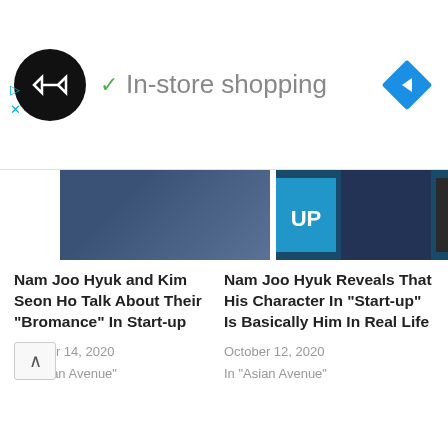[Figure (screenshot): Ad banner with black circle logo (infinity-like symbol), green checkmark, 'In-store shopping' text, and blue diamond navigation icon. Small play and close icons below left.]
[Figure (photo): Two partially visible photos of Korean celebrities at top of content area — left shows a person in dark clothing, right shows a person in front of a blue 'UP' sign.]
Nam Joo Hyuk and Kim Seon Ho Talk About Their “Bromance” In Start-up
October 14, 2020
In "Asian Avenue"
Nam Joo Hyuk Reveals That His Character In “Start-up” Is Basically Him In Real Life
October 12, 2020
In "Asian Avenue"
[Figure (photo): Photo of two young Korean male actors looking at camera, one in lighter clothing in foreground.]
ACTOR TRIVIA: 25 Things About “Twenty Five Twenty One” Actor Nam...